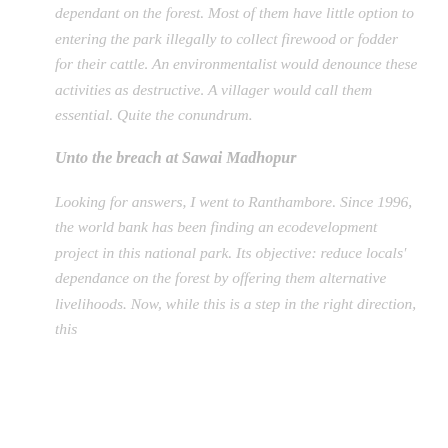dependant on the forest. Most of them have little option to entering the park illegally to collect firewood or fodder for their cattle. An environmentalist would denounce these activities as destructive. A villager would call them essential. Quite the conundrum.
Unto the breach at Sawai Madhopur
Looking for answers, I went to Ranthambore. Since 1996, the world bank has been finding an ecodevelopment project in this national park. Its objective: reduce locals' dependance on the forest by offering them alternative livelihoods. Now, while this is a step in the right direction, this project is just a...